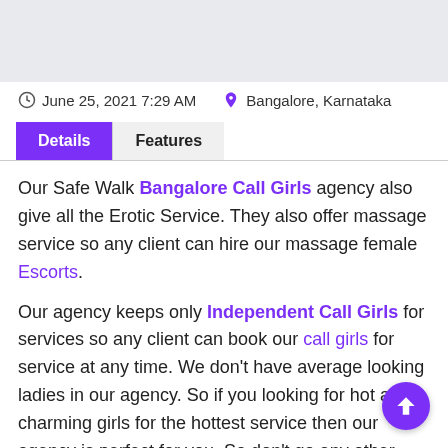[Figure (other): Gray image placeholder at top of page]
June 25, 2021 7:29 AM   Bangalore, Karnataka
Details  Features (tab navigation)
Our Safe Walk Bangalore Call Girls agency also give all the Erotic Service. They also offer massage service so any client can hire our massage female Escorts.
Our agency keeps only Independent Call Girls for services so any client can book our call girls for service at any time. We don't have average looking ladies in our agency. So if you looking for hot and charming girls for the hottest service then our agency is perfect for you. So don't go any other escorts agency for adult